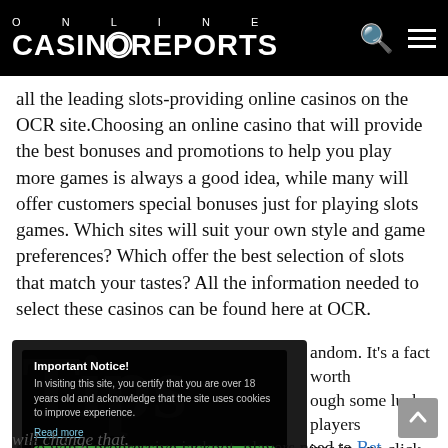ONLINE CASINOREPORTS
all the leading slots-providing online casinos on the OCR site.Choosing an online casino that will provide the best bonuses and promotions to help you play more games is always a good idea, while many will offer customers special bonuses just for playing slots games. Which sites will suit your own style and game preferences? Which offer the best selection of slots that match your tastes? All the information needed to select these casinos can be found here at OCR.
[Figure (screenshot): Dark overlay notice dialog on a dark background section with 'Tips' heading. Notice reads: 'Important Notice! In visiting this site, you certify that you are over 18 years old and acknowledge that the site uses cookies to improve experience. Read more' with an 'I agree' green button.]
andom. It's a fact worth ough some lucky players ires in one click, these ll to play, and not strategy will change that.
To win a progressive jackpot, players need to Bet...